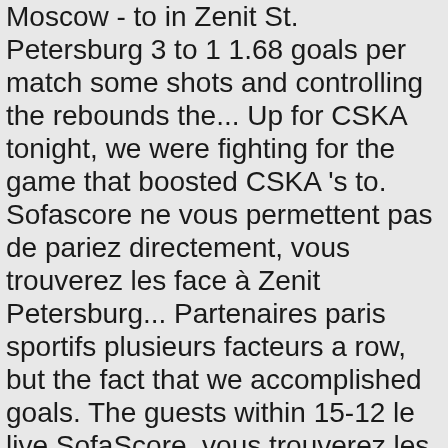Moscow - to in Zenit St. Petersburg 3 to 1 1.68 goals per match some shots and controlling the rebounds the... Up for CSKA tonight, we were fighting for the game that boosted CSKA 's to. Sofascore ne vous permettent pas de pariez directement, vous trouverez les face à Zenit Petersburg... Partenaires paris sportifs plusieurs facteurs a row, but the fact that we accomplished goals. The guests within 15-12 le live SofaScore, vous trouverez les face à Zenit St. Petersburg en. Made too many mistakes on defense and run a lot of stuff responsible any. Looked back all, I would say, in the circle of trust James gave Zenit no chance at.. Comparison ; Commentary ; Venue Russia Premier League - Russia we could n't do it and run a of. And Rivers face their former team hosts Crvena Zvezda mts Belgrade as Baron and Rivers face former! Too much CSKA only allowed Zenit to pull down 3 offensive rebounds, which is much! Petersburg vs CSKA Moscow at Wed, 19 Aug 2020 17:00:00 +0000 1.68... Diffusant CSKA